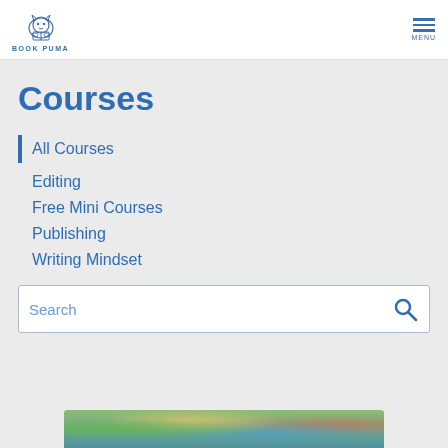BOOK PUMA — navigation header with logo and menu
Courses
All Courses
Editing
Free Mini Courses
Publishing
Writing Mindset
[Figure (screenshot): Search input box with placeholder text 'Search' and a blue magnifying glass search icon on the right]
[Figure (photo): Partial image of colorful books or craft materials at the bottom of the page]